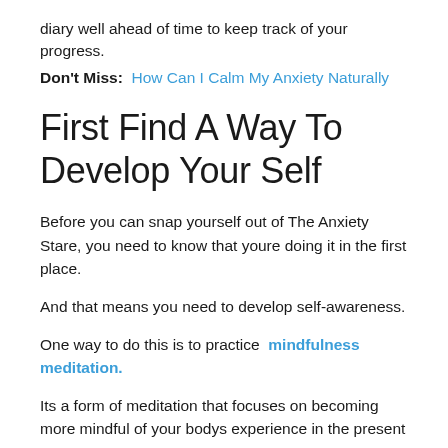diary well ahead of time to keep track of your progress.
Don't Miss:  How Can I Calm My Anxiety Naturally
First Find A Way To Develop Your Self
Before you can snap yourself out of The Anxiety Stare, you need to know that youre doing it in the first place.
And that means you need to develop self-awareness.
One way to do this is to practice  mindfulness meditation.
Its a form of meditation that focuses on becoming more mindful of your bodys experience in the present moment.